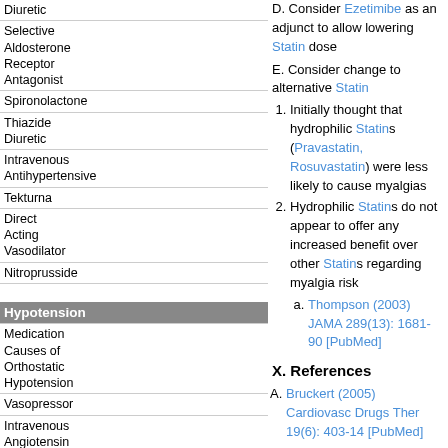| Diuretic |
| Selective Aldosterone Receptor Antagonist |
| Spironolactone |
| Thiazide Diuretic |
| Intravenous Antihypertensive |
| Tekturna |
| Direct Acting Vasodilator |
| Nitroprusside |
| Hypotension |
| Medication Causes of Orthostatic Hypotension |
| Vasopressor |
| Intravenous Angiotensin 2 |
| Dopamine |
| Norepinephrine |
| Intravenous Phenylephrine |
| Vasopressin |
| Hyperlipidemia |
| Ezetimibe |
D. Consider Ezetimibe as an adjunct to allow lowering Statin dose
E. Consider change to alternative Statin
1. Initially thought that hydrophilic Statins (Pravastatin, Rosuvastatin) were less likely to cause myalgias
2. Hydrophilic Statins do not appear to offer any increased benefit over other Statins regarding myalgia risk
a. Thompson (2003) JAMA 289(13): 1681-90 [PubMed]
X. References
A. Bruckert (2005) Cardiovasc Drugs Ther 19(6): 403-14 [PubMed]
B. Graham (2004) JAMA 292(21): 2585-90 [PubMed]
C. Phillips (2002) Ann Intern Med 137:581-5 [PubMed]